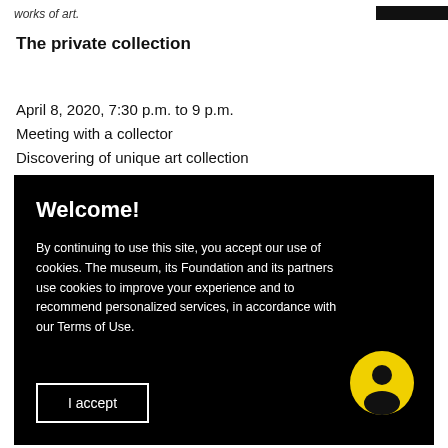works of art.
The private collection
April 8, 2020, 7:30 p.m. to 9 p.m.
Meeting with a collector
Discovering of unique art collection
Welcome!
By continuing to use this site, you accept our use of cookies. The museum, its Foundation and its partners use cookies to improve your experience and to recommend personalized services, in accordance with our Terms of Use.
[Figure (other): Yellow circle with person/user icon silhouette in black]
I accept